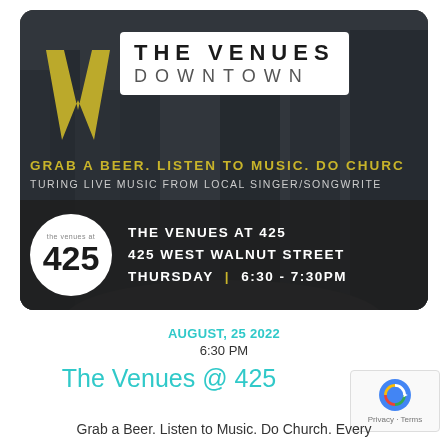[Figure (photo): Event flyer for The Venues Downtown showing a city skyline background, gold W logo, white box with 'THE VENUES DOWNTOWN' text, tagline 'GRAB A BEER. LISTEN TO MUSIC. DO CHURCH.' and venue details: THE VENUES AT 425, 425 WEST WALNUT STREET, THURSDAY 6:30-7:30PM, with circle 425 logo]
AUGUST, 25 2022
6:30 PM
The Venues @ 425
Grab a Beer. Listen to Music. Do Church. Every